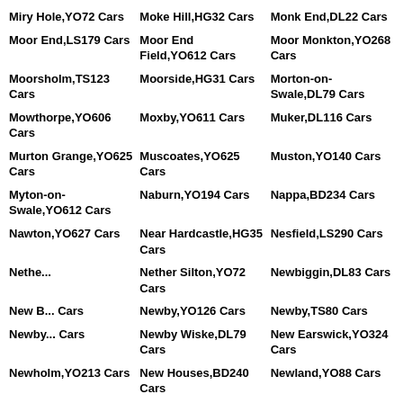Miry Hole,YO72 Cars
Moke Hill,HG32 Cars
Monk End,DL22 Cars
Moor End,LS179 Cars
Moor End Field,YO612 Cars
Moor Monkton,YO268 Cars
Moorsholm,TS123 Cars
Moorside,HG31 Cars
Morton-on-Swale,DL79 Cars
Mowthorpe,YO606 Cars
Moxby,YO611 Cars
Muker,DL116 Cars
Murton Grange,YO625 Cars
Muscoates,YO625 Cars
Muston,YO140 Cars
Myton-on-Swale,YO612 Cars
Naburn,YO194 Cars
Nappa,BD234 Cars
Nawton,YO627 Cars
Near Hardcastle,HG35 Cars
Nesfield,LS290 Cars
Nether Silton,YO72 Cars
Newbiggin,DL83 Cars
Newby,YO126 Cars
Newby,TS80 Cars
Newby Wiske,DL79 Cars
New Earswick,YO324 Cars
New Houses,BD240 Cars
Newland,YO88 Cars
Newholm,YO213 Cars
New Marske,TS118 Cars
New Park,HG13 Cars
Newport,TS54 Cars